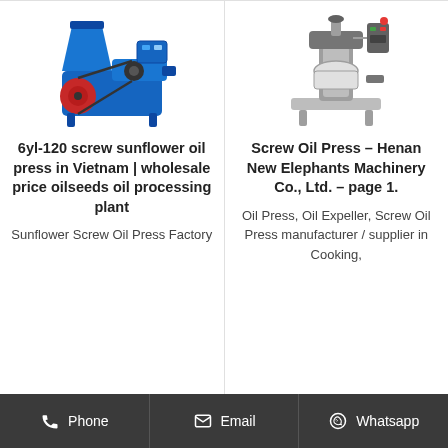[Figure (photo): Blue screw sunflower oil press machine (6yl-120)]
6yl-120 screw sunflower oil press in Vietnam | wholesale price oilseeds oil processing plant
Sunflower Screw Oil Press Factory
[Figure (photo): Silver/gray screw oil press machine by Henan New Elephants Machinery]
Screw Oil Press – Henan New Elephants Machinery Co., Ltd. – page 1.
Oil Press, Oil Expeller, Screw Oil Press manufacturer / supplier in Cooking,
Phone   Email   Whatsapp